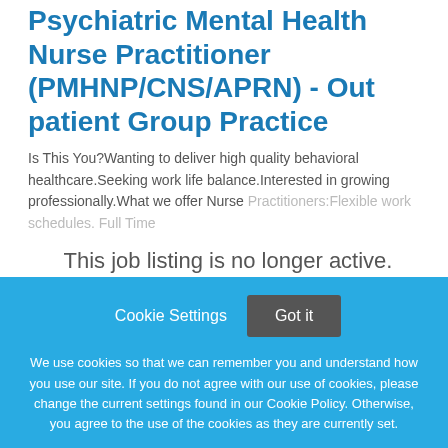Psychiatric Mental Health Nurse Practitioner (PMHNP/CNS/APRN) - Out patient Group Practice
Is This You?Wanting to deliver high quality behavioral healthcare.Seeking work life balance.Interested in growing professionally.What we offer Nurse Practitioners:Flexible work schedules. Full Time
This job listing is no longer active.
Cookie Settings
Got it
We use cookies so that we can remember you and understand how you use our site. If you do not agree with our use of cookies, please change the current settings found in our Cookie Policy. Otherwise, you agree to the use of the cookies as they are currently set.